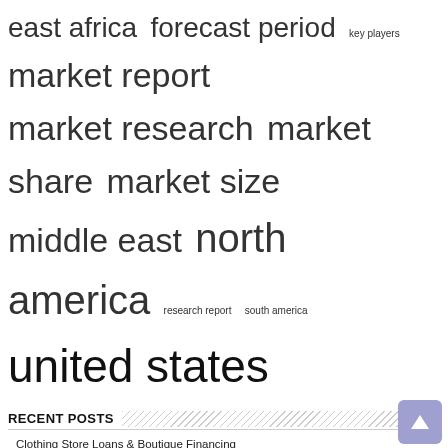east africa  forecast period  key players  market report  market research  market share  market size  middle east  north america  research report  south america  united states
RECENT POSTS
Clothing Store Loans & Boutique Financing
Thelanestyle Reviews :- An introduction for the site
Insect Shield Clothing Market Report 2022: With Key Players Insect Shield, ExOfficio, Royal Robbins & Others – ResearchAndMarkets.com
NTUF invites application for admission
rue21 closes Culpeper teenage clothing store, open since 2013 | Company
Winter Sportswear Market Projection by Key Players, Status, Growth, Revenue, SWOT Analysis, Forecast 2028